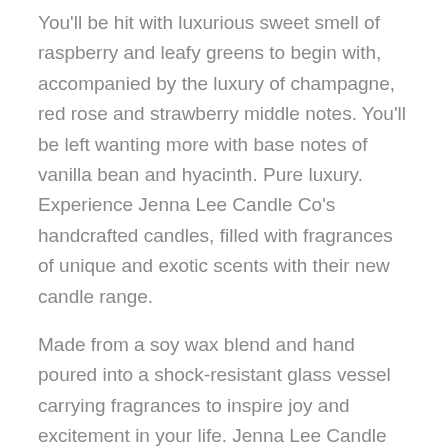You'll be hit with luxurious sweet smell of raspberry and leafy greens to begin with, accompanied by the luxury of champagne, red rose and strawberry middle notes. You'll be left wanting more with base notes of vanilla bean and hyacinth. Pure luxury. Experience Jenna Lee Candle Co's handcrafted candles, filled with fragrances of unique and exotic scents with their new candle range.
Made from a soy wax blend and hand poured into a shock-resistant glass vessel carrying fragrances to inspire joy and excitement in your life. Jenna Lee Candle Co candles are poured in Strathalbyn, South Australia with the ability to be shipped Australia wide. Presented in a beautiful box, these candles will also make the perfect gift for some special.
Never leave a burning candle unattended. Always burn your candle out of reach of children or pets. Always leave at least 10cm between burning candles, and never burn on or near anything